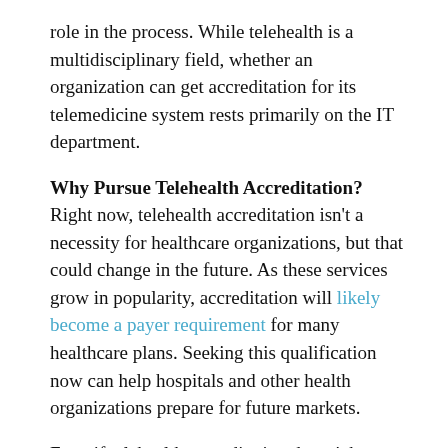role in the process. While telehealth is a multidisciplinary field, whether an organization can get accreditation for its telemedicine system rests primarily on the IT department.
Why Pursue Telehealth Accreditation?
Right now, telehealth accreditation isn’t a necessity for healthcare organizations, but that could change in the future. As these services grow in popularity, accreditation will likely become a payer requirement for many healthcare plans. Seeking this qualification now can help hospitals and other health organizations prepare for future markets.
Even if telehealth accreditation doesn’t become a requirement, it’s still beneficial. Having validation of high standards can comfort patients, helping draw in and